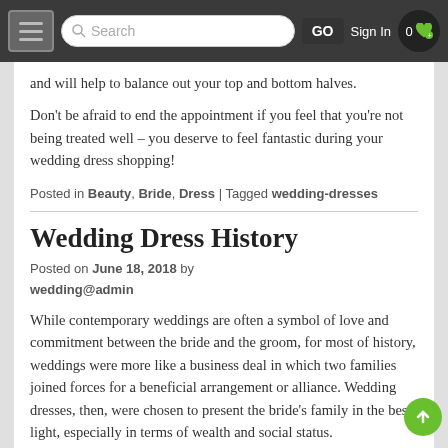Menu | Search | GO | Sign In | 0 ♥
and will help to balance out your top and bottom halves.
Don't be afraid to end the appointment if you feel that you're not being treated well – you deserve to feel fantastic during your wedding dress shopping!
Posted in Beauty, Bride, Dress | Tagged wedding-dresses
Wedding Dress History
Posted on June 18, 2018 by wedding@admin
While contemporary weddings are often a symbol of love and commitment between the bride and the groom, for most of history, weddings were more like a business deal in which two families joined forces for a beneficial arrangement or alliance. Wedding dresses, then, were chosen to present the bride's family in the best light, especially in terms of wealth and social status.